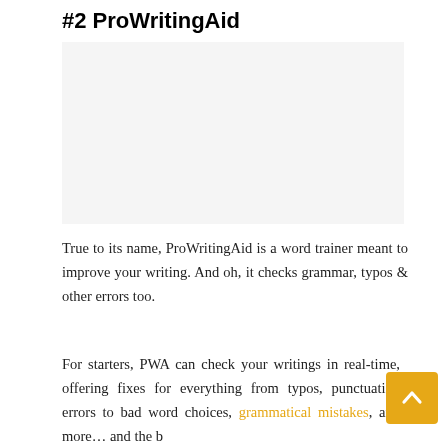#2 ProWritingAid
[Figure (other): ProWritingAid product screenshot or logo image placeholder]
True to its name, ProWritingAid is a word trainer meant to improve your writing. And oh, it checks grammar, typos & other errors too.
For starters, PWA can check your writings in real-time, offering fixes for everything from typos, punctuation errors to bad word choices, grammatical mistakes, and more… and the best part? It does so in a way that makes it easier for you to learn from your mistakes, thus improving your